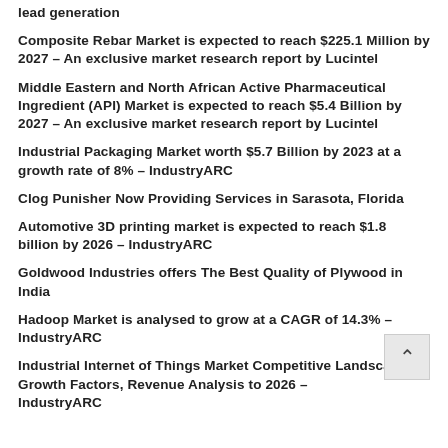lead generation
Composite Rebar Market is expected to reach $225.1 Million by 2027 – An exclusive market research report by Lucintel
Middle Eastern and North African Active Pharmaceutical Ingredient (API) Market is expected to reach $5.4 Billion by 2027 – An exclusive market research report by Lucintel
Industrial Packaging Market worth $5.7 Billion by 2023 at a growth rate of 8% – IndustryARC
Clog Punisher Now Providing Services in Sarasota, Florida
Automotive 3D printing market is expected to reach $1.8 billion by 2026 – IndustryARC
Goldwood Industries offers The Best Quality of Plywood in India
Hadoop Market is analysed to grow at a CAGR of 14.3% – IndustryARC
Industrial Internet of Things Market Competitive Landscape, Growth Factors, Revenue Analysis to 2026 – IndustryARC